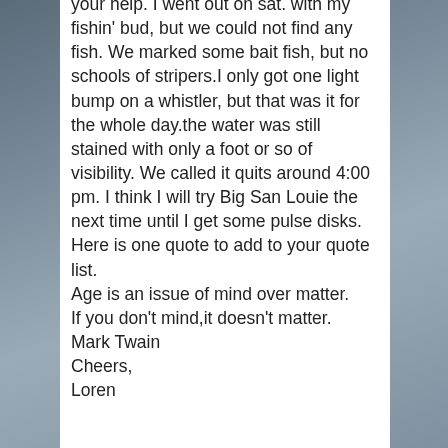your help. I went out on sat. with my fishin' bud, but we could not find any fish. We marked some bait fish, but no schools of stripers.I only got one light bump on a whistler, but that was it for the whole day.the water was still stained with only a foot or so of visibility. We called it quits around 4:00 pm. I think I will try Big San Louie the next time until I get some pulse disks.
Here is one quote to add to your quote list.
Age is an issue of mind over matter.
If you don't mind,it doesn't matter.
Mark Twain
Cheers,
Loren
Reply